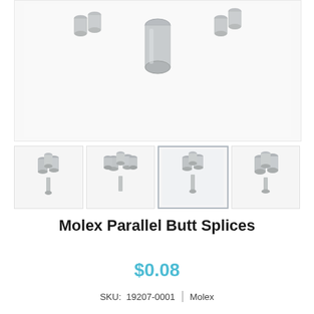[Figure (photo): Close-up photo of Molex Parallel Butt Splices — small silver metallic cylindrical connectors arranged in a cluster, viewed from above on a white background.]
[Figure (photo): Four thumbnail images of Molex Parallel Butt Splices from different angles, showing clusters of small silver metallic cylindrical connectors.]
Molex Parallel Butt Splices
$0.08
SKU: 19207-0001  |  Molex